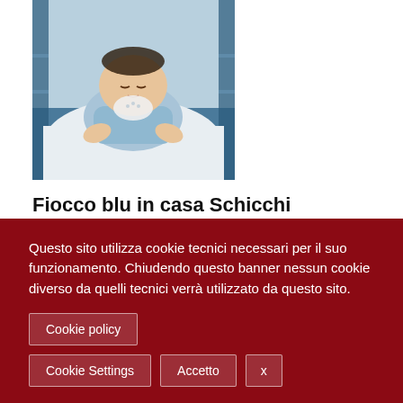[Figure (photo): Newborn baby in light blue outfit lying in a crib with white bedding and blue bars visible]
Fiocco blu in casa Schicchi
Redazione • Lug 29, 2022
Tanti auguri dagli amici della Strada degli scrittori È nato questa notte Emiliano, figlio di Enza Russello e di Gioacchino Schicchi, nostro prezioso collaboratore. Alla mamma e al papà, ai nonni e a tutta la famiglia tanti
Questo sito utilizza cookie tecnici necessari per il suo funzionamento. Chiudendo questo banner nessun cookie diverso da quelli tecnici verrà utilizzato da questo sito.
Cookie policy
Cookie Settings
Accetto
x